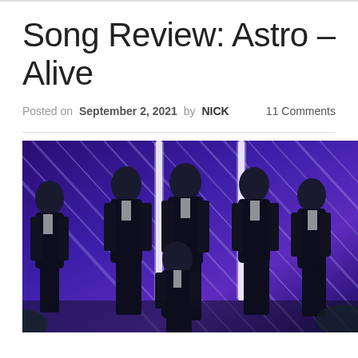Song Review: Astro – Alive
Posted on September 2, 2021 by NICK   11 Comments
[Figure (photo): Group photo of K-pop group Astro in dark suits against a purple and blue light background with neon light beams]